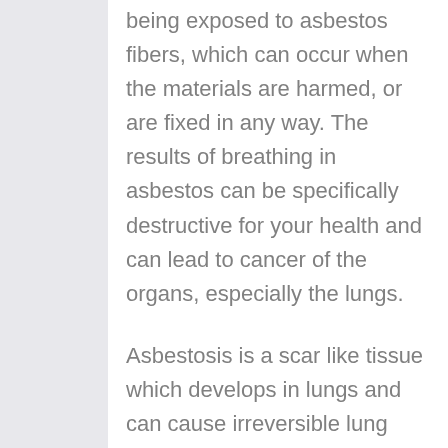being exposed to asbestos fibers, which can occur when the materials are harmed, or are fixed in any way. The results of breathing in asbestos can be specifically destructive for your health and can lead to cancer of the organs, especially the lungs.
Asbestosis is a scar like tissue which develops in lungs and can cause irreversible lung damage. It's for that reason vital that you follow treatments to safely remove all traces of asbestos as safe and